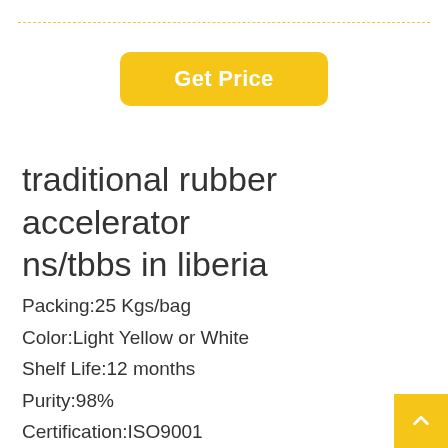[Figure (other): Yellow dashed horizontal line at top of page]
Get Price
traditional rubber accelerator ns/tbbs in liberia
Packing:25 Kgs/bag
Color:Light Yellow or White
Shelf Life:12 months
Purity:98%
Certification:ISO9001
Appearance:Powder,Oil powder or Granula